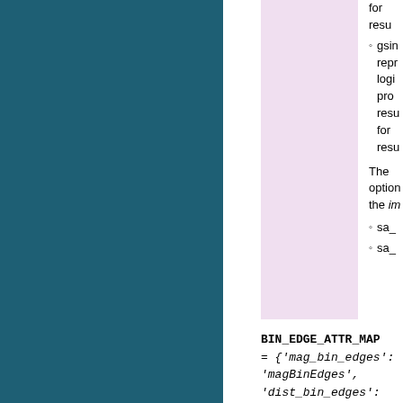[Figure (other): Teal/dark blue sidebar panel on the left side of the page]
[Figure (other): Light pink/lavender rectangular box in the center of the page]
for result
gsing repr logi pro result for result
The option the im
sa_
sa_
BIN_EDGE_ATTR_MAP = {'mag_bin_edges': 'magBinEdges', 'dist_bin_edges': 'distBinEdges', 'lon_bin_edges': 'lonBinEdges',